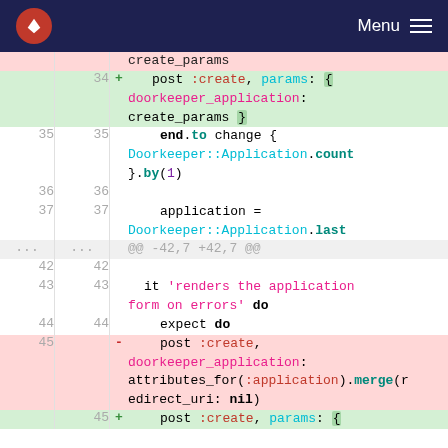Menu
[Figure (screenshot): Code diff view showing Ruby test file changes. Lines 34-45 shown with additions (green) and deletions (red). Code involves post :create with doorkeeper_application params, end.to change block, Doorkeeper::Application.count, application = Doorkeeper::Application.last, and it 'renders the application form on errors' do block.]